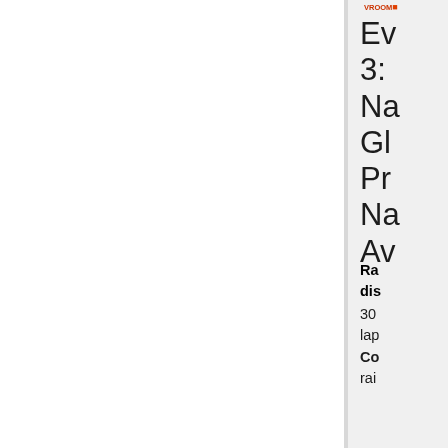[Figure (logo): VROOM or similar motorsport logo, small, top right corner, partially visible]
Ev 3: Na Gl Pr Na Av
Race details: 30 laps
Conditions: rain
This race of the season at Na